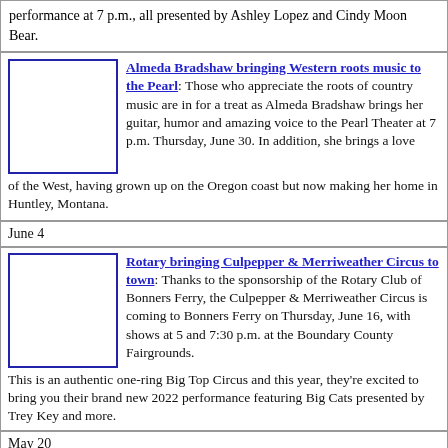performance at 7 p.m., all presented by Ashley Lopez and Cindy Moon Bear.
Almeda Bradshaw bringing Western roots music to the Pearl: Those who appreciate the roots of country music are in for a treat as Almeda Bradshaw brings her guitar, humor and amazing voice to the Pearl Theater at 7 p.m. Thursday, June 30. In addition, she brings a love of the West, having grown up on the Oregon coast but now making her home in Huntley, Montana.
June 4
Rotary bringing Culpepper & Merriweather Circus to town: Thanks to the sponsorship of the Rotary Club of Bonners Ferry, the Culpepper & Merriweather Circus is coming to Bonners Ferry on Thursday, June 16, with shows at 5 and 7:30 p.m. at the Boundary County Fairgrounds. This is an authentic one-ring Big Top Circus and this year, they're excited to bring you their brand new 2022 performance featuring Big Cats presented by Trey Key and more.
May 20
Announcing Alpha+ Summer Robotics Camp